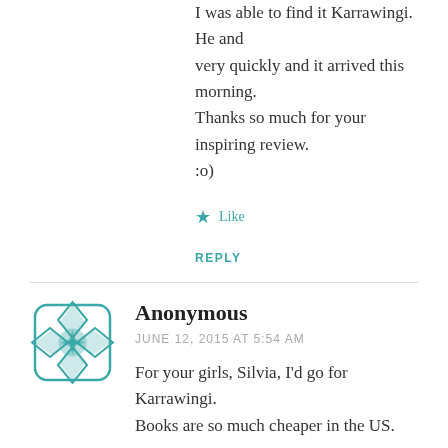I was able to find it Karrawingi. He and very quickly and it arrived this morning. Thanks so much for your inspiring review. :o)
Like
REPLY
Anonymous
JUNE 12, 2015 AT 5:54 AM
For your girls, Silvia, I'd go for Karrawingi. Books are so much cheaper in the US.
Like